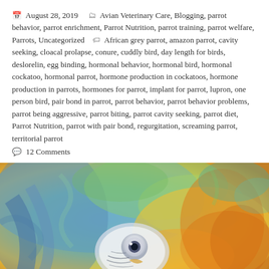📅 August 28, 2019   🗂 Avian Veterinary Care, Blogging, parrot behavior, parrot enrichment, Parrot Nutrition, parrot training, parrot welfare, Parrots, Uncategorized  🏷 African grey parrot, amazon parrot, cavity seeking, cloacal prolapse, conure, cuddly bird, day length for birds, deslorelin, egg binding, hormonal behavior, hormonal bird, hormonal cockatoo, hormonal parrot, hormone production in cockatoos, hormone production in parrots, hormones for parrot, implant for parrot, lupron, one person bird, pair bond in parrot, parrot behavior, parrot behavior problems, parrot being aggressive, parrot biting, parrot cavity seeking, parrot diet, Parrot Nutrition, parrot with pair bond, regurgitation, screaming parrot, territorial parrot
💬 12 Comments
[Figure (illustration): Colorful artistic illustration of a parrot (appears to be a macaw or similar bird) with blue, teal, green, yellow, and orange colors in a painterly/watercolor style. The bird's eye and facial features are visible in the center-lower portion of the image.]